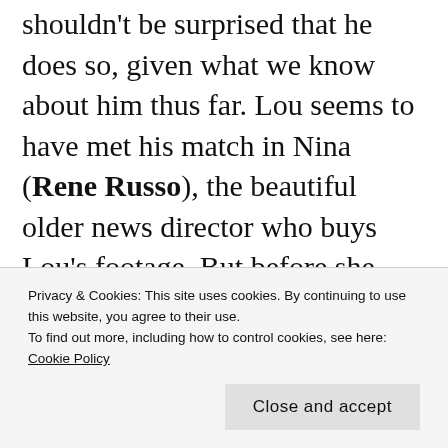shouldn't be surprised that he does so, given what we know about him thus far. Lou seems to have met his match in Nina (Rene Russo), the beautiful older news director who buys Lou's footage. But before she even realizes what happens, Lou backs her into a corner, figuratively and literally, as he feeds off her vulnerability and fear of working in such a notoriously competitive field. That entire scene at the Mexican restaurant gives me
Privacy & Cookies: This site uses cookies. By continuing to use this website, you agree to their use.
To find out more, including how to control cookies, see here: Cookie Policy
Close and accept